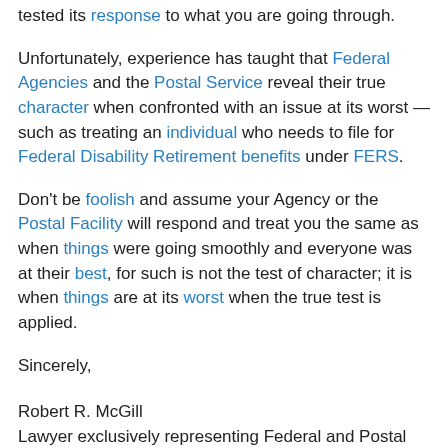tested its response to what you are going through.
Unfortunately, experience has taught that Federal Agencies and the Postal Service reveal their true character when confronted with an issue at its worst — such as treating an individual who needs to file for Federal Disability Retirement benefits under FERS.
Don't be foolish and assume your Agency or the Postal Facility will respond and treat you the same as when things were going smoothly and everyone was at their best, for such is not the test of character; it is when things are at its worst when the true test is applied.
Sincerely,
Robert R. McGill
Lawyer exclusively representing Federal and Postal